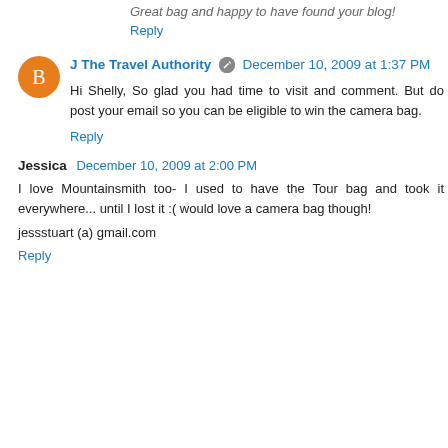Great bag  and happy to have found your blog!
Reply
J The Travel Authority  December 10, 2009 at 1:37 PM
Hi Shelly, So glad you had time to visit and comment. But do post your email so you can be eligible to win the camera bag.
Reply
Jessica  December 10, 2009 at 2:00 PM
I love Mountainsmith too- I used to have the Tour bag and took it everywhere... until I lost it :( would love a camera bag though!
jessstuart (a) gmail.com
Reply